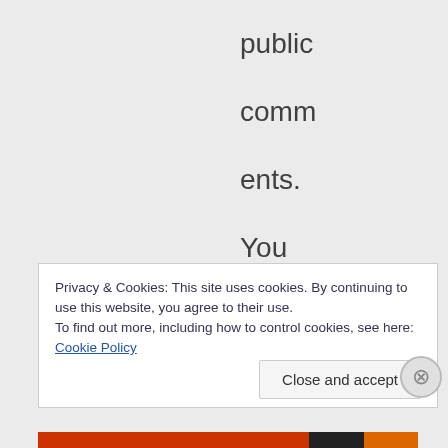public comments. You may have good intentions but the
Privacy & Cookies: This site uses cookies. By continuing to use this website, you agree to their use.
To find out more, including how to control cookies, see here: Cookie Policy
Close and accept